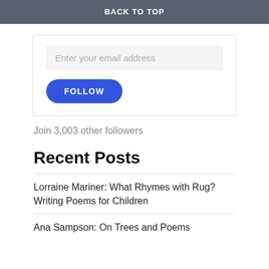BACK TO TOP
Enter your email address
FOLLOW
Join 3,003 other followers
Recent Posts
Lorraine Mariner: What Rhymes with Rug? Writing Poems for Children
Ana Sampson: On Trees and Poems